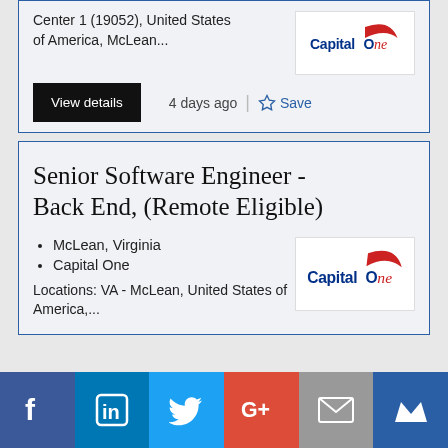Center 1 (19052), United States of America, McLean...
View details
4 days ago
Save
[Figure (logo): Capital One logo]
Senior Software Engineer - Back End, (Remote Eligible)
McLean, Virginia
Capital One
Locations: VA - McLean, United States of America,...
[Figure (logo): Capital One logo]
[Figure (infographic): Social media sharing bar with Facebook, LinkedIn, Twitter, Google+, Email, and bookmark icons]